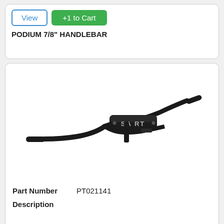View | +1 to Cart
PODIUM 7/8" HANDLEBAR
[Figure (photo): Black motorcycle/dirt bike handlebar with a center pad labeled 'SA RT' (Protek brand), shown angled from left to right with grips on each end.]
Part Number   PT021141
Description